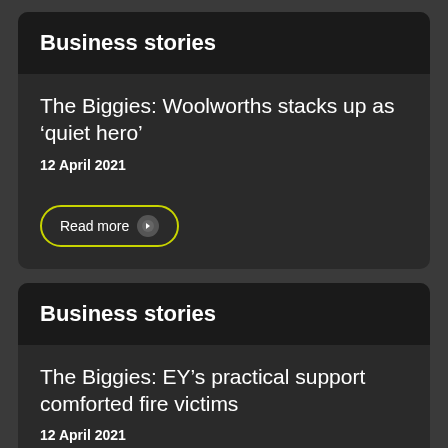Business stories
The Biggies: Woolworths stacks up as ‘quiet hero’
12 April 2021
Read more
Business stories
The Biggies: EY’s practical support comforted fire victims
12 April 2021